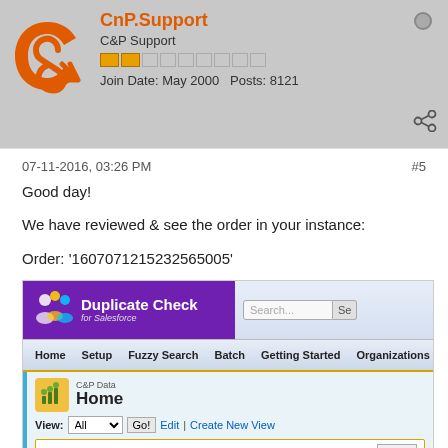CnP.Support — C&P Support — Join Date: May 2000   Posts: 8121
07-11-2016, 03:26 PM
#5
Good day!

We have reviewed & see the order in your instance:

Order: '1607071215232565005'
[Figure (screenshot): Screenshot of Duplicate Check for Salesforce application showing the Home page with a Recent C&P Data table. The table lists Transaction-13493 with Order Number 1607071215232565005 highlighted in blue.]